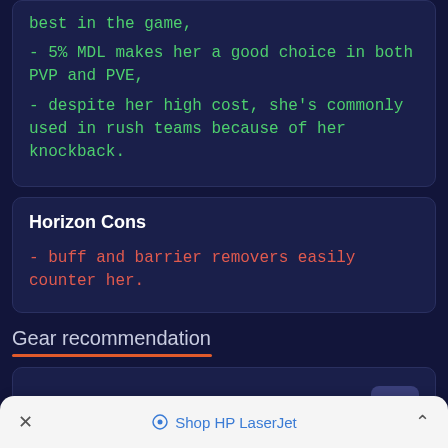best in the game,
- 5% MDL makes her a good choice in both PVP and PVE,
- despite her high cost, she's commonly used in rush teams because of her knockback.
Horizon Cons
- buff and barrier removers easily counter her.
Gear recommendation
Horizon PVE gear